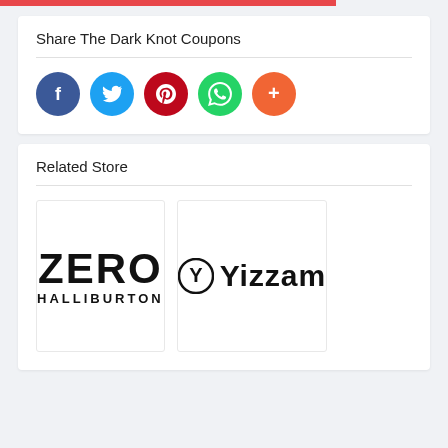Share The Dark Knot Coupons
[Figure (infographic): Social sharing icons: Facebook (dark blue circle), Twitter (light blue circle), Pinterest (red circle), WhatsApp (green circle), More/Share (orange-red circle with plus sign)]
Related Store
[Figure (logo): ZERO HALLIBURTON logo in bold black text]
[Figure (logo): Yizzam logo with Y symbol in circle and Yizzam text in bold black]